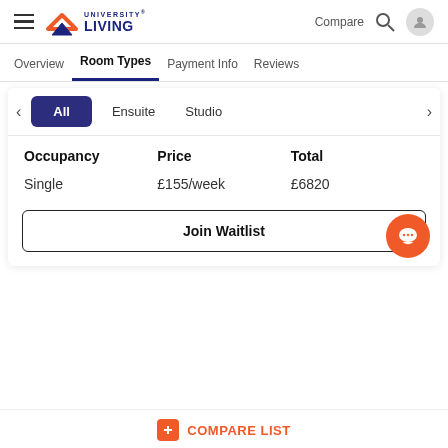[Figure (logo): University Living logo with hamburger menu and navigation icons]
Overview
Room Types
Payment Info
Reviews
| Occupancy | Price | Total |
| --- | --- | --- |
| Single | £155/week | £6820 |
Join Waitlist
COMPARE LIST